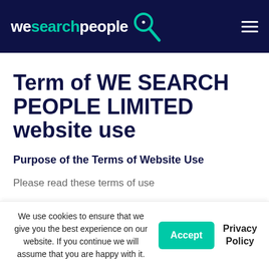wesearchpeople
Term of WE SEARCH PEOPLE LIMITED website use
Purpose of the Terms of Website Use
Please read these terms of use
We use cookies to ensure that we give you the best experience on our website. If you continue we will assume that you are happy with it.